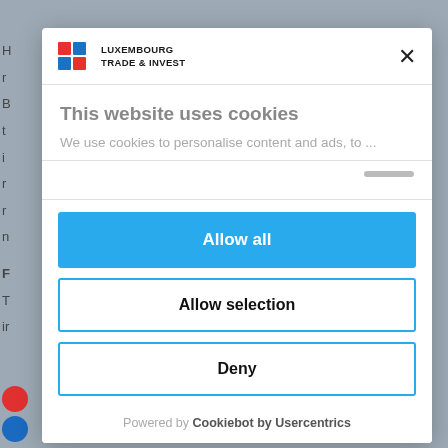[Figure (logo): Luxembourg Trade & Invest logo with colored squares and text]
This website uses cookies
We use cookies to personalise content and ads, to ...
Allow all
Allow selection
Deny
Powered by Cookiebot by Usercentrics